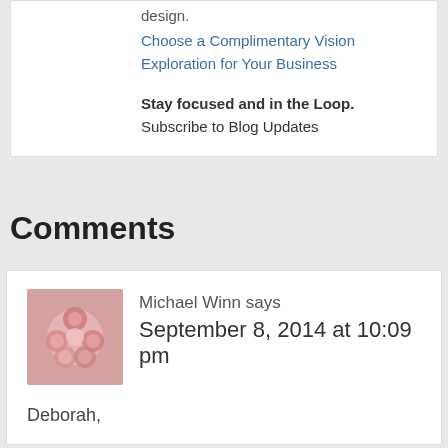design.
Choose a Complimentary Vision Exploration for Your Business
Stay focused and in the Loop. Subscribe to Blog Updates
Comments
Michael Winn says
September 8, 2014 at 10:09 pm
Deborah,